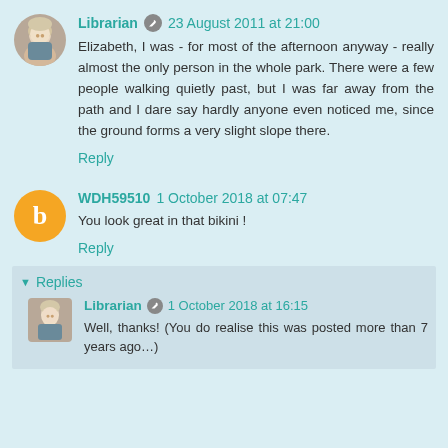[Figure (photo): Avatar photo of Librarian — older woman with short blonde hair]
Librarian  23 August 2011 at 21:00
Elizabeth, I was - for most of the afternoon anyway - really almost the only person in the whole park. There were a few people walking quietly past, but I was far away from the path and I dare say hardly anyone even noticed me, since the ground forms a very slight slope there.
Reply
[Figure (logo): Blogger orange circle icon with letter B]
WDH59510  1 October 2018 at 07:47
You look great in that bikini !
Reply
Replies
[Figure (photo): Nested avatar photo of Librarian — older woman with short blonde hair]
Librarian  1 October 2018 at 16:15
Well, thanks! (You do realise this was posted more than 7 years ago…)